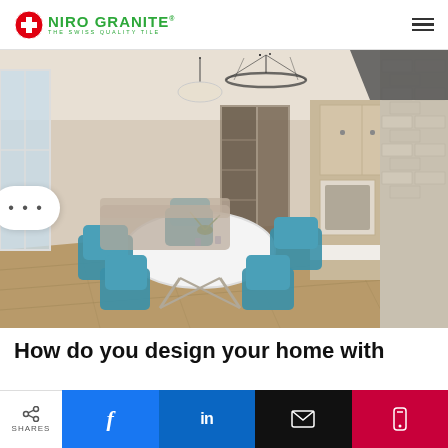NIRO GRANITE — THE SWISS QUALITY TILE
[Figure (photo): Interior photo of a modern open-plan kitchen and dining area with teal chairs around a white round table, wood-look floor tiles, light wood cabinetry, and a brick-effect tiled wall]
How do you design your home with
SHARES | Facebook | LinkedIn | Email | Mobile